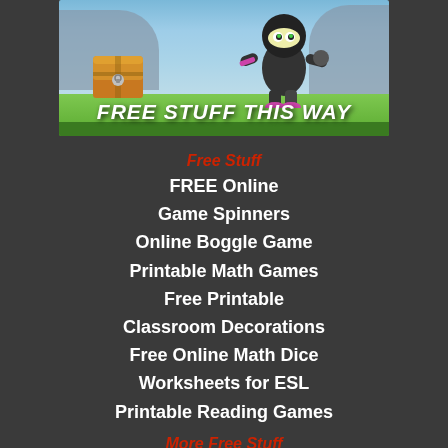[Figure (illustration): Animated ninja character next to a treasure chest with text 'FREE STUFF THIS WAY' overlaid on a grass/mountain background]
Free Stuff
FREE Online
Game Spinners
Online Boggle Game
Printable Math Games
Free Printable
Classroom Decorations
Free Online Math Dice
Worksheets for ESL
Printable Reading Games
More Free Stuff
Online Hundreds